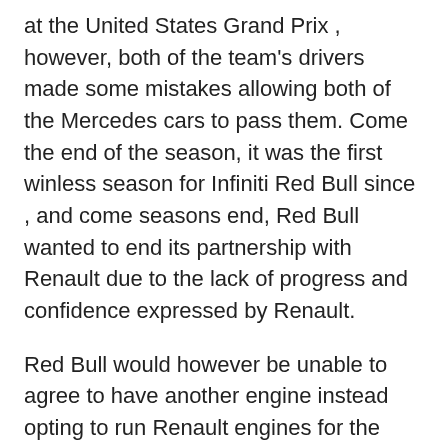at the United States Grand Prix , however, both of the team's drivers made some mistakes allowing both of the Mercedes cars to pass them. Come the end of the season, it was the first winless season for Infiniti Red Bull since , and come seasons end, Red Bull wanted to end its partnership with Renault due to the lack of progress and confidence expressed by Renault.
Red Bull would however be unable to agree to have another engine instead opting to run Renault engines for the season but rebadged as TAG-Heuer. They ended the season in fourth place on points with Kvyat in seventh 95 points and Ricciardo in eighth 92 points , their lowest finish position in seven years. Infiniti also departed as a main sponsor due to the Renault breakdown. The team announced on 17 March , one day before the Australian Grand Prix